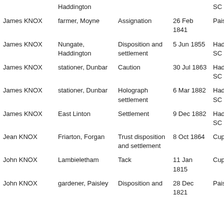| Name | Description | Document type | Date | Court |
| --- | --- | --- | --- | --- |
|  | Haddington |  |  | SC |
| James KNOX | farmer, Moyne | Assignation | 26 Feb 1841 | Paisley SC |
| James KNOX | Nungate, Haddington | Disposition and settlement | 5 Jun 1855 | Haddington SC |
| James KNOX | stationer, Dunbar | Caution | 30 Jul 1863 | Haddington SC |
| James KNOX | stationer, Dunbar | Holograph settlement | 6 Mar 1882 | Haddington SC |
| James KNOX | East Linton | Settlement | 9 Dec 1882 | Haddington SC |
| Jean KNOX | Friarton, Forgan | Trust disposition and settlement | 8 Oct 1864 | Cupar SC |
| John KNOX | Lambieletham | Tack | 11 Jan 1815 | Cupar SC |
| John KNOX | gardener, Paisley | Disposition and | 28 Dec 1821 | Paisley SC |